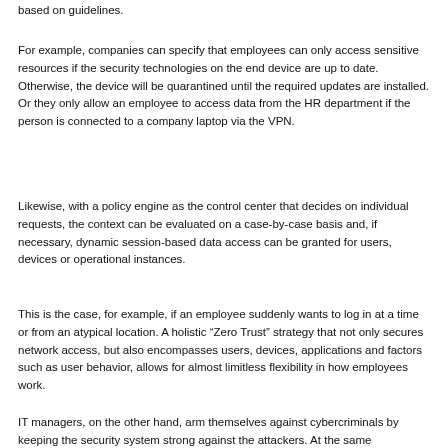based on guidelines.
For example, companies can specify that employees can only access sensitive resources if the security technologies on the end device are up to date. Otherwise, the device will be quarantined until the required updates are installed. Or they only allow an employee to access data from the HR department if the person is connected to a company laptop via the VPN.
Likewise, with a policy engine as the control center that decides on individual requests, the context can be evaluated on a case-by-case basis and, if necessary, dynamic session-based data access can be granted for users, devices or operational instances.
This is the case, for example, if an employee suddenly wants to log in at a time or from an atypical location. A holistic “Zero Trust” strategy that not only secures network access, but also encompasses users, devices, applications and factors such as user behavior, allows for almost limitless flexibility in how employees work.
IT managers, on the other hand, arm themselves against cybercriminals by keeping the security system strong against the attackers. At the same